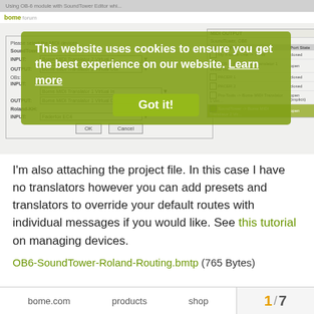[Figure (screenshot): Screenshot of a web forum page about 'Using OB-6 module with SoundTower Editor' showing a MIDI device configuration dialog and a cookie consent overlay with 'Got it!' button.]
I'm also attaching the project file. In this case I have no translators however you can add presets and translators to override your default routes with individual messages if you would like. See this tutorial on managing devices.
OB6-SoundTower-Roland-Routing.bmtp (765 Bytes)
bome.com   products   shop   1 / 7